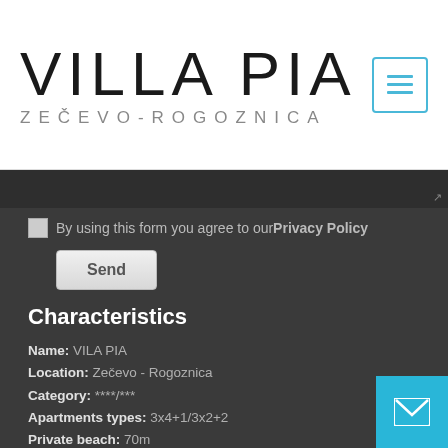VILLA PIA ZEČEVO-ROGOZNICA
By using this form you agree to our Privacy Policy
Send
Characteristics
Name: VILA PIA
Location: Zečevo - Rogoznica
Category: ****/***
Apartments types: 3x4+1/3x2+2
Private beach: 70m
Free private parking: yes, for 14 cars
Free Wi-Fi: yes
BBQ: yes
Seaview: yes